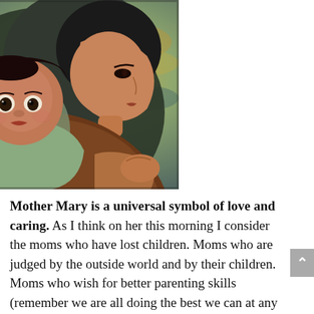[Figure (illustration): Oil painting of a woman (Mother Mary) in a dark headscarf holding a young child against her chest. The child looks forward with large dark eyes, and the woman looks to the right in profile. Background is a muted teal and golden sky.]
Mother Mary is a universal symbol of love and caring. As I think on her this morning I consider the moms who have lost children. Moms who are judged by the outside world and by their children. Moms who wish for better parenting skills (remember we are all doing the best we can at any given moment). And women who are mothers in their heart